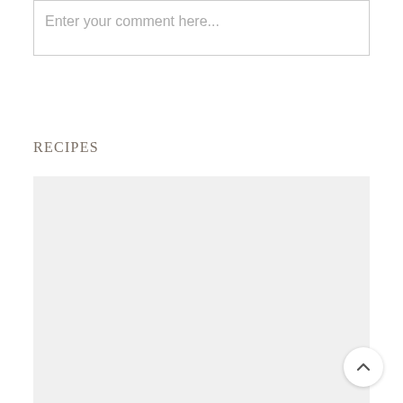Enter your comment here...
RECIPES
[Figure (other): Light gray placeholder image block for recipes section]
[Figure (other): Back to top button — circular white button with upward chevron arrow]